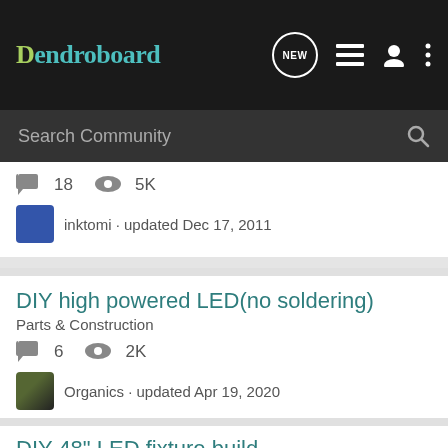Dendroboard — navigation bar with logo, NEW, list, user, and menu icons
Search Community
18 comments · 5K views · inktomi · updated Dec 17, 2011
DIY high powered LED(no soldering) · Parts & Construction · 6 comments · 2K views · Organics · updated Apr 19, 2020
DIY 48" LED fixture build · Parts & Construction · 24 comments · 4K views